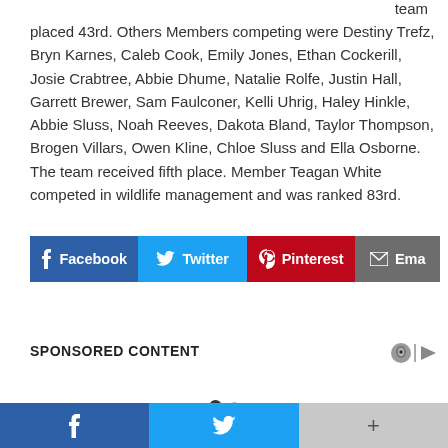team placed 43rd. Others Members competing were Destiny Trefz, Bryn Karnes, Caleb Cook, Emily Jones, Ethan Cockerill, Josie Crabtree, Abbie Dhume, Natalie Rolfe, Justin Hall, Garrett Brewer, Sam Faulconer, Kelli Uhrig, Haley Hinkle, Abbie Sluss, Noah Reeves, Dakota Bland, Taylor Thompson, Brogen Villars, Owen Kline, Chloe Sluss and Ella Osborne. The team received fifth place. Member Teagan White competed in wildlife management and was ranked 83rd.
[Figure (infographic): Social share buttons: Facebook, Twitter, Pinterest, Email]
SPONSORED CONTENT
[Figure (infographic): Pagination dots: one filled dark dot and one smaller light dot]
[Figure (infographic): Bottom navigation bar with Facebook, Twitter, and more (+) buttons]